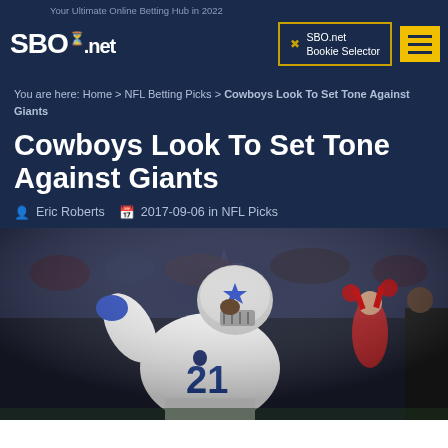Your Ultimate Online Betting Hub in 2022
[Figure (logo): SBO.net logo with trophy icon]
SBO.net Bookie Selector
You are here: Home > NFL Betting Picks > Cowboys Look To Set Tone Against Giants
Cowboys Look To Set Tone Against Giants
Eric Roberts  2017-09-06 in NFL Picks
[Figure (photo): Dallas Cowboys player #21 in white uniform with blue gloves celebrating, cheerleaders and crowd in background]